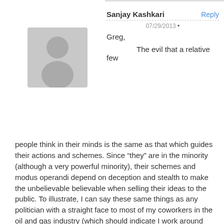[Figure (illustration): Gray silhouette avatar placeholder image for user Sanjay Kashkari]
Sanjay Kashkari
Reply
07/29/2013 •
Greg,

The evil that a relative few people think in their minds is the same as that which guides their actions and schemes. Since “they” are in the minority (although a very powerful minority), their schemes and modus operandi depend on deception and stealth to make the unbelievable believable when selling their ideas to the public. To illustrate, I can say these same things as any politician with a straight face to most of my coworkers in the oil and gas industry (which should indicate I work around folks whose analytical skills should be well above average), but with nary any reaction just by saying things in a using certain words like freedom, children, liberty, security, etc. People have been